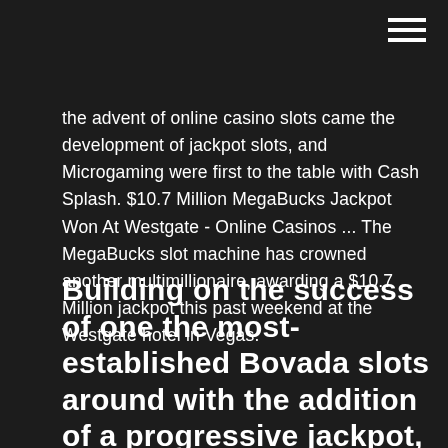the advent of online casino slots came the development of jackpot slots, and Microgaming were first to the table with Cash Splash. $10.7 Million MegaBucks Jackpot Won At Westgate - Online Casinos ... The MegaBucks slot machine has crowned another multimillionaire, awarding a $10.7 Million jackpot this past weekend at the Westgate hotel in Vegas.
Building on the success of one the most-established Bovada slots around with the addition of a progressive jackpot, fans of the original will be chomping at the bit to start playing this one